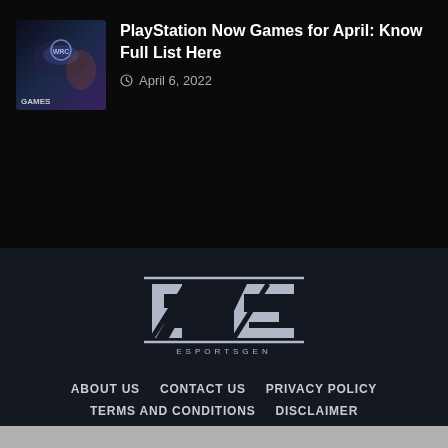[Figure (screenshot): Thumbnail image for PlayStation Now Games article showing a dark sci-fi game cover with 'GAMES' label]
PlayStation Now Games for April: Know Full List Here
April 6, 2022
[Figure (logo): EsportsGen logo — stylized EG letters with double horizontal lines above and below, ESPORTSGEN text below]
ABOUT US   CONTACT US   PRIVACY POLICY   TERMS AND CONDITIONS   DISCLAIMER